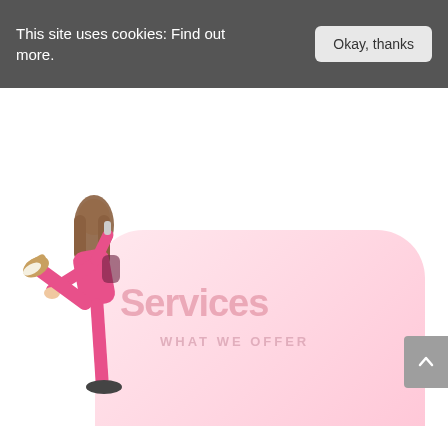This site uses cookies: Find out more.
Okay, thanks
[Figure (illustration): Person in pink suit doing a high kick while leaning forward, with long hair, holding a microphone]
Services
WHAT WE OFFER